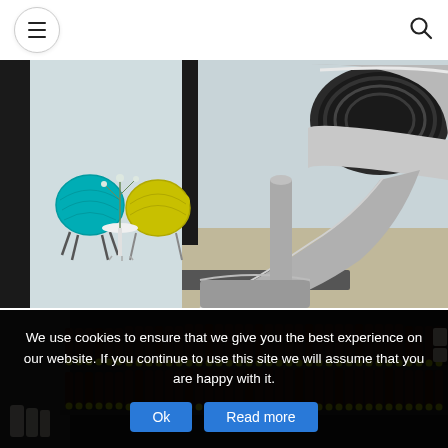Navigation bar with hamburger menu and search icon
[Figure (photo): Office interior with colorful Acapulco-style chairs (teal and yellow-green) on the left, a small white side table with a plant, a black partition wall, and a large stainless steel slide on the right side descending from above]
[Figure (photo): Close-up of dark shelving units filled with rows of product tubes (hair color or similar cosmetic tubes) with yellow and green dots/labels, densely packed on two visible shelf rows]
We use cookies to ensure that we give you the best experience on our website. If you continue to use this site we will assume that you are happy with it.
Ok
Read more